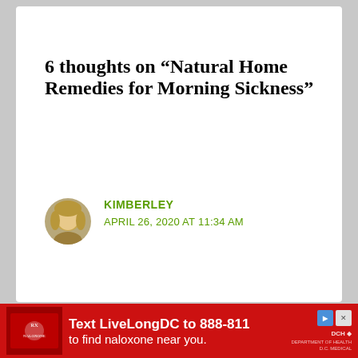6 thoughts on “Natural Home Remedies for Morning Sickness”
KIMBERLEY
APRIL 26, 2020 AT 11:34 AM
Great tips I found the ginger and lemon worked
[Figure (infographic): Red advertisement banner: Text LiveLongDC to 888-811 to find naloxone near you. DCH logo on right.]